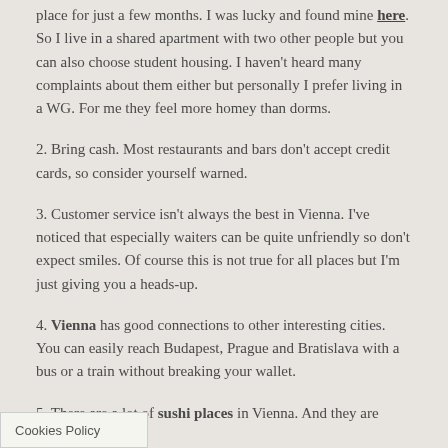place for just a few months. I was lucky and found mine here. So I live in a shared apartment with two other people but you can also choose student housing. I haven't heard many complaints about them either but personally I prefer living in a WG. For me they feel more homey than dorms.
2. Bring cash. Most restaurants and bars don't accept credit cards, so consider yourself warned.
3. Customer service isn't always the best in Vienna. I've noticed that especially waiters can be quite unfriendly so don't expect smiles. Of course this is not true for all places but I'm just giving you a heads-up.
4. Vienna has good connections to other interesting cities. You can easily reach Budapest, Prague and Bratislava with a bus or a train without breaking your wallet.
5. There are a lot of sushi places in Vienna. And they are cheap.
All in all, I'm very happy I chose Vienna as my exchange destination. ...nch of new friends, tried new things, seen interesting
Cookies Policy